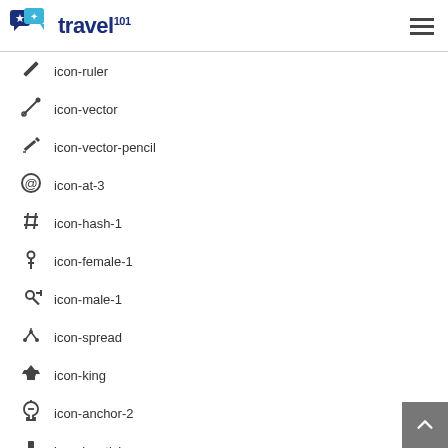travel101 navigation header
icon-ruler
icon-vector
icon-vector-pencil
icon-at-3
icon-hash-1
icon-female-1
icon-male-1
icon-spread
icon-king
icon-anchor-2
icon-joystick
icon-spinner1
icon-spinner2
icon-github-3